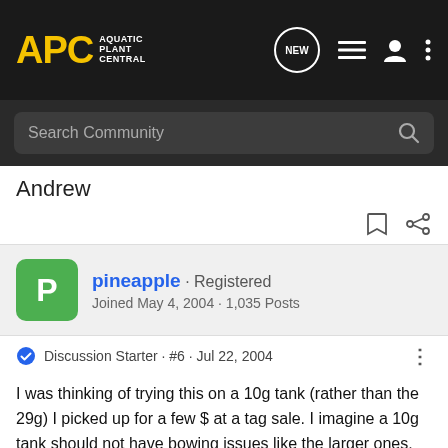[Figure (screenshot): APC (Aquatic Plant Central) forum website navigation bar with logo, NEW chat icon, menu icon, user icon, and options icon on dark background]
Search Community
Andrew
pineapple · Registered
Joined May 4, 2004 · 1,035 Posts
Discussion Starter · #6 · Jul 22, 2004
I was thinking of trying this on a 10g tank (rather than the 29g) I picked up for a few $ at a tag sale. I imagine a 10g tank should not have bowing issues like the larger ones.
Andrew Cribb